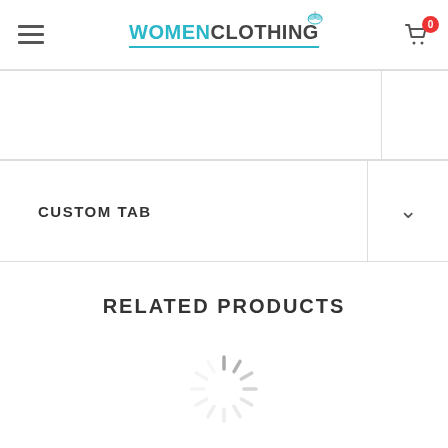[Figure (logo): WomenClothing logo with butterfly icon and cyan underline]
CUSTOM TAB
RELATED PRODUCTS
[Figure (illustration): Loading spinner (circular dashed indicator)]